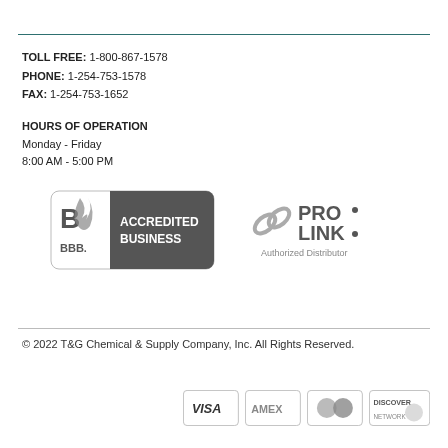TOLL FREE: 1-800-867-1578
PHONE: 1-254-753-1578
FAX: 1-254-753-1652
HOURS OF OPERATION
Monday - Friday
8:00 AM - 5:00 PM
[Figure (logo): BBB Accredited Business logo]
[Figure (logo): PRO-LINK Authorized Distributor logo]
© 2022 T&G Chemical & Supply Company, Inc. All Rights Reserved.
[Figure (logo): Payment card logos: VISA, AMEX, Mastercard, Discover]